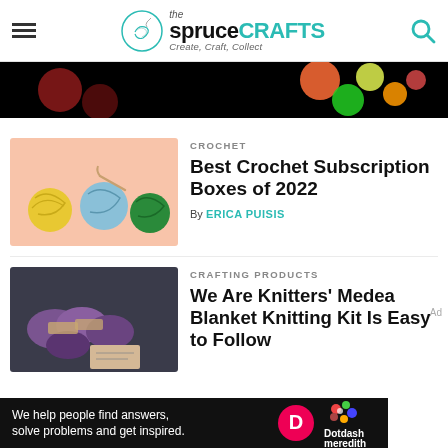the spruce CRAFTS — Create, Craft, Collect
[Figure (photo): Top advertisement banner — colorful circles on black background]
[Figure (photo): Crochet article thumbnail — yellow, blue and green yarn balls with crochet hook on pink background]
CROCHET
Best Crochet Subscription Boxes of 2022
By ERICA PUISIS
[Figure (photo): Knitting article thumbnail — purple yarn skeins in a basket with kraft paper label]
CRAFTING PRODUCTS
We Are Knitters' Medea Blanket Knitting Kit Is Easy to Follow
[Figure (photo): Bottom advertisement banner — We help people find answers, solve problems and get inspired. Dotdash Meredith logo]